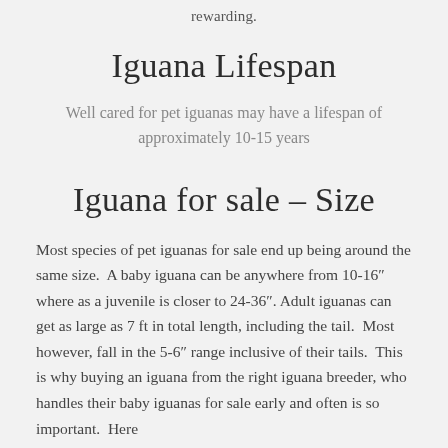rewarding.
Iguana Lifespan
Well cared for pet iguanas may have a lifespan of approximately 10-15 years
Iguana for sale – Size
Most species of pet iguanas for sale end up being around the same size.  A baby iguana can be anywhere from 10-16″ where as a juvenile is closer to 24-36″.  Adult iguanas can get as large as 7 ft in total length, including the tail.  Most however, fall in the 5-6″ range inclusive of their tails.  This is why buying an iguana from the right iguana breeder, who handles their baby iguanas for sale early and often is so important.  Here